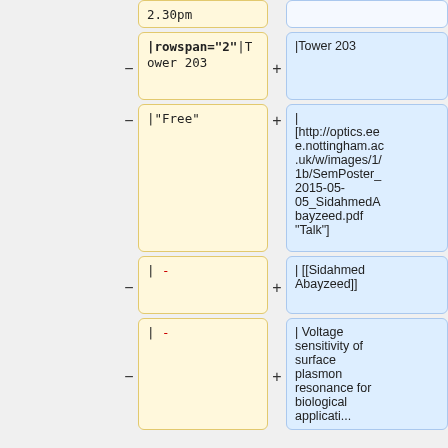2.30pm
|rowspan="2"|Tower 203
|Tower 203
|"Free"
| [http://optics.eee.nottingham.ac.uk/w/images/1/1b/SemPoster_2015-05-05_SidahmedAbayzeed.pdf "Talk"]
| -
| [[Sidahmed Abayzeed]]
| -
| Voltage sensitivity of surface plasmon resonance for biological application